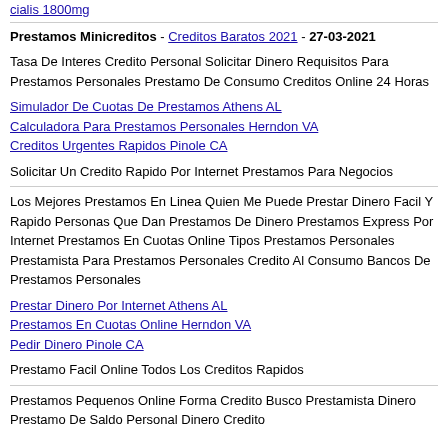cialis 1800mg
Prestamos Minicreditos - Creditos Baratos 2021 - 27-03-2021
Tasa De Interes Credito Personal Solicitar Dinero Requisitos Para Prestamos Personales Prestamo De Consumo Creditos Online 24 Horas
Simulador De Cuotas De Prestamos Athens AL
Calculadora Para Prestamos Personales Herndon VA
Creditos Urgentes Rapidos Pinole CA
Solicitar Un Credito Rapido Por Internet Prestamos Para Negocios
Los Mejores Prestamos En Linea Quien Me Puede Prestar Dinero Facil Y Rapido Personas Que Dan Prestamos De Dinero Prestamos Express Por Internet Prestamos En Cuotas Online Tipos Prestamos Personales Prestamista Para Prestamos Personales Credito Al Consumo Bancos De Prestamos Personales
Prestar Dinero Por Internet Athens AL
Prestamos En Cuotas Online Herndon VA
Pedir Dinero Pinole CA
Prestamo Facil Online Todos Los Creditos Rapidos
Prestamos Pequenos Online Forma Credito Busco Prestamista Dinero Prestamo De Saldo Personal Dinero Credito